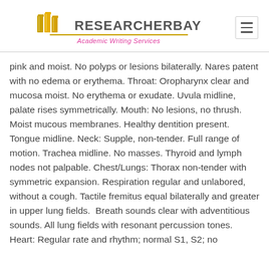RESEARCHERBAY Academic Writing Services
pink and moist. No polyps or lesions bilaterally. Nares patent with no edema or erythema. Throat: Oropharynx clear and mucosa moist. No erythema or exudate. Uvula midline, palate rises symmetrically. Mouth: No lesions, no thrush. Moist mucous membranes. Healthy dentition present. Tongue midline. Neck: Supple, non-tender. Full range of motion. Trachea midline. No masses. Thyroid and lymph nodes not palpable. Chest/Lungs: Thorax non-tender with symmetric expansion. Respiration regular and unlabored, without a cough. Tactile fremitus equal bilaterally and greater in upper lung fields.  Breath sounds clear with adventitious sounds. All lung fields with resonant percussion tones.    Heart: Regular rate and rhythm; normal S1, S2; no